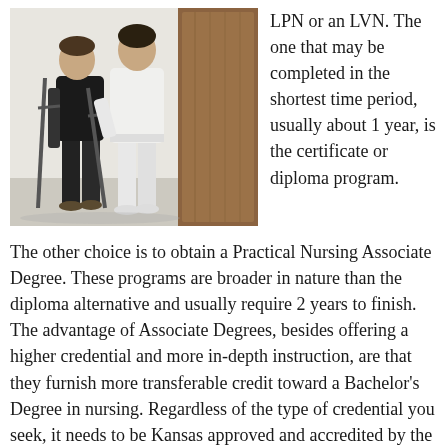[Figure (photo): Two people standing near a door; one person on crutches wearing dark clothing, the other in white clothing assisting them, in a clinical or rehabilitation setting.]
LPN or an LVN. The one that may be completed in the shortest time period, usually about 1 year, is the certificate or diploma program.
The other choice is to obtain a Practical Nursing Associate Degree. These programs are broader in nature than the diploma alternative and usually require 2 years to finish. The advantage of Associate Degrees, besides offering a higher credential and more in-depth instruction, are that they furnish more transferable credit toward a Bachelor's Degree in nursing. Regardless of the type of credential you seek, it needs to be Kansas approved and accredited by the National League for Nursing Accrediting Commission (NLNAC) or some other national accrediting organization. The NLNAC guarantees that the course of study adequately prepares students to become Practical Nurses, and that the majority